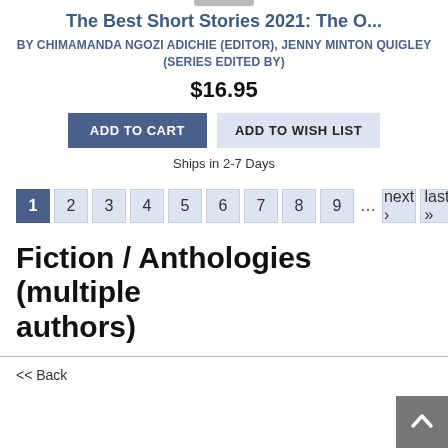The Best Short Stories 2021: The O...
BY CHIMAMANDA NGOZI ADICHIE (EDITOR), JENNY MINTON QUIGLEY (SERIES EDITED BY)
$16.95
ADD TO CART   ADD TO WISH LIST
Ships in 2-7 Days
1  2  3  4  5  6  7  8  9  ...  next›  last»
Fiction / Anthologies (multiple authors)
<< Back